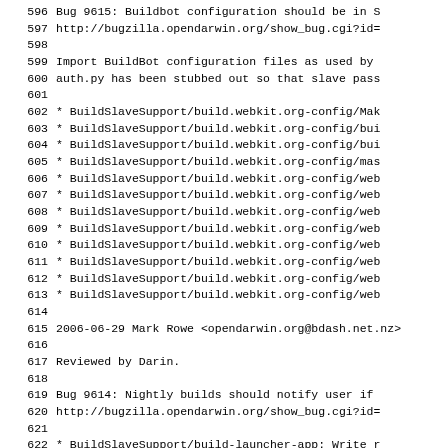Code listing lines 596-627 showing changelog entries for BuildBot configuration and build launcher bugs, including file lists and author attribution for Mark Rowe.